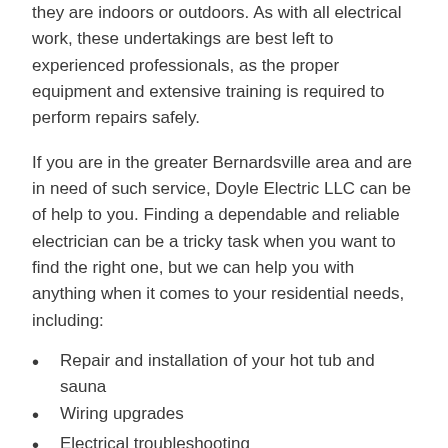they are indoors or outdoors. As with all electrical work, these undertakings are best left to experienced professionals, as the proper equipment and extensive training is required to perform repairs safely.
If you are in the greater Bernardsville area and are in need of such service, Doyle Electric LLC can be of help to you. Finding a dependable and reliable electrician can be a tricky task when you want to find the right one, but we can help you with anything when it comes to your residential needs, including:
Repair and installation of your hot tub and sauna
Wiring upgrades
Electrical troubleshooting
Safety measures
Security issues